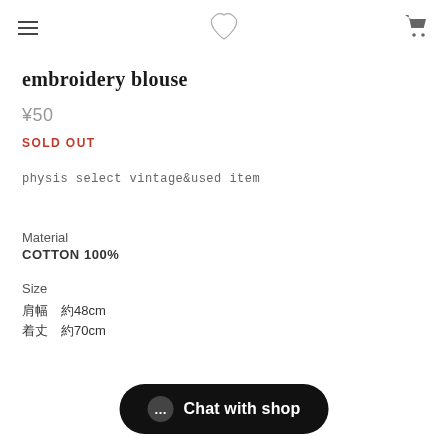≡  [logo]  🛒
embroidery blouse
¥50
SOLD OUT
physis select vintage&used item
Material
COTTON 100%
Size　　　
肩幅　約48cm
着丈　約70cm
Chat with shop